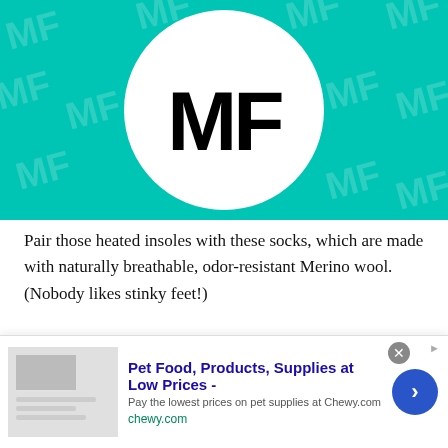[Figure (logo): MF logo — white circle with bold black letters 'MF' on a teal/turquoise background with repeating MF watermark pattern]
Pair those heated insoles with these socks, which are made with naturally breathable, odor-resistant Merino wool. (Nobody likes stinky feet!)
12. Brookstone Insulated Heated Jacket with Rechargeable Battery (Women's, Men's), $188
[Figure (screenshot): Advertisement banner: Pet Food, Products, Supplies at Low Prices - Chewy.com. Pay the lowest prices on pet supplies at Chewy.com. chewy.com]